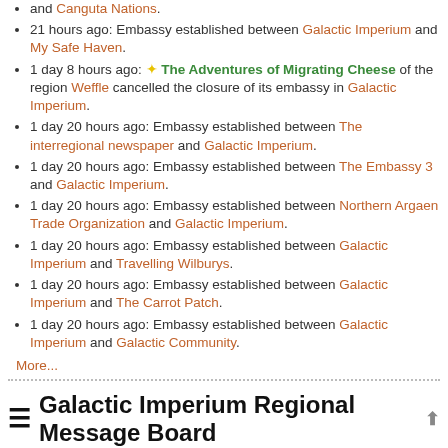and Canguta Nations.
21 hours ago: Embassy established between Galactic Imperium and My Safe Haven.
1 day 8 hours ago: ✦ The Adventures of Migrating Cheese of the region Weffle cancelled the closure of its embassy in Galactic Imperium.
1 day 20 hours ago: Embassy established between The interregional newspaper and Galactic Imperium.
1 day 20 hours ago: Embassy established between The Embassy 3 and Galactic Imperium.
1 day 20 hours ago: Embassy established between Northern Argaen Trade Organization and Galactic Imperium.
1 day 20 hours ago: Embassy established between Galactic Imperium and Travelling Wilburys.
1 day 20 hours ago: Embassy established between Galactic Imperium and The Carrot Patch.
1 day 20 hours ago: Embassy established between Galactic Imperium and Galactic Community.
More...
Galactic Imperium Regional Message Board
↑ Older Messages
Messages
The Nomadic Peoples of ... 5 days ago